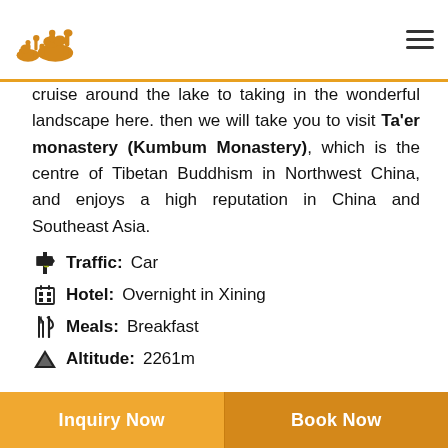Camel travel logo and navigation menu
cruise around the lake to taking in the wonderful landscape here. then we will take you to visit Ta'er monastery (Kumbum Monastery), which is the centre of Tibetan Buddhism in Northwest China, and enjoys a high reputation in China and Southeast Asia.
Traffic: Car
Hotel: Overnight in Xining
Meals: Breakfast
Altitude: 2261m
Inquiry Now | Book Now